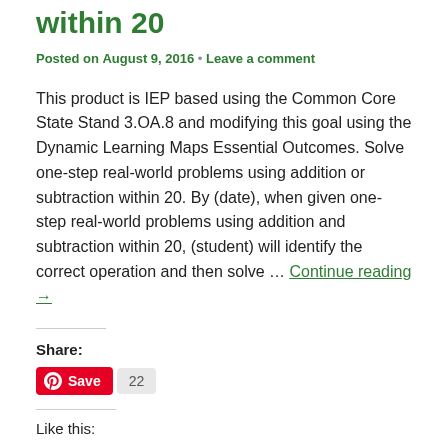subtraction within 20
Posted on August 9, 2016 • Leave a comment
This product is IEP based using the Common Core State Stand 3.OA.8 and modifying this goal using the Dynamic Learning Maps Essential Outcomes. Solve one-step real-world problems using addition or subtraction within 20. By (date), when given one-step real-world problems using addition and subtraction within 20, (student) will identify the correct operation and then solve … Continue reading →
Share:
[Figure (other): Pinterest Save button with count 22]
Like this: